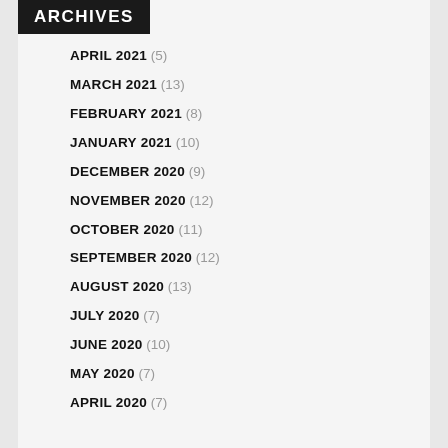ARCHIVES
APRIL 2021 (5)
MARCH 2021 (13)
FEBRUARY 2021 (8)
JANUARY 2021 (10)
DECEMBER 2020 (9)
NOVEMBER 2020 (12)
OCTOBER 2020 (11)
SEPTEMBER 2020 (12)
AUGUST 2020 (13)
JULY 2020 (7)
JUNE 2020 (10)
MAY 2020 (7)
APRIL 2020 (7)